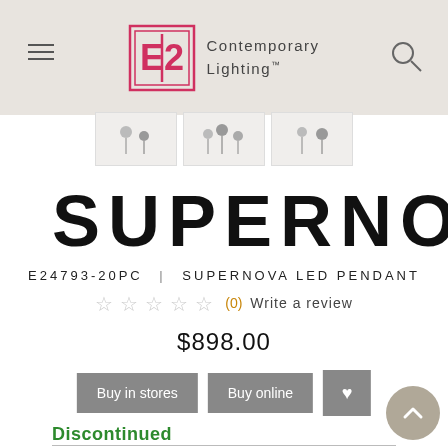ET2 Contemporary Lighting
[Figure (photo): Three thumbnail images of Supernova LED pendant light fixture from different angles]
SUPERNOVA
E24793-20PC | SUPERNOVA LED PENDANT
(0) Write a review
$898.00
Buy in stores  Buy online
Discontinued
Just like a Supernova releasing a tremendous burst of energy, becoming extraordinarily bright, this collection of